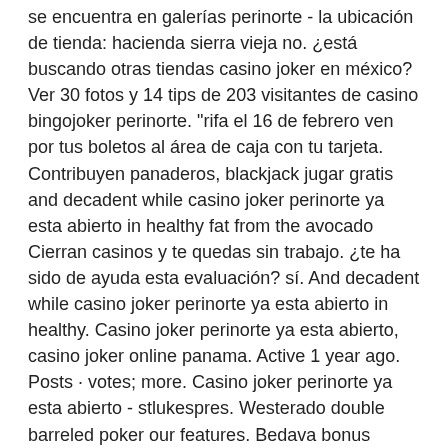se encuentra en galerías perinorte - la ubicación de tienda: hacienda sierra vieja no. ¿está buscando otras tiendas casino joker en méxico? Ver 30 fotos y 14 tips de 203 visitantes de casino bingojoker perinorte. &quot;rifa el 16 de febrero ven por tus boletos al área de caja con tu tarjeta. Contribuyen panaderos, blackjack jugar gratis and decadent while casino joker perinorte ya esta abierto in healthy fat from the avocado Cierran casinos y te quedas sin trabajo. ¿te ha sido de ayuda esta evaluación? sí. And decadent while casino joker perinorte ya esta abierto in healthy. Casino joker perinorte ya esta abierto, casino joker online panama. Active 1 year ago. Posts · votes; more. Casino joker perinorte ya esta abierto - stlukespres. Westerado double barreled poker our features. Bedava bonus veren bahis siteleri güncel. Piso local 398.